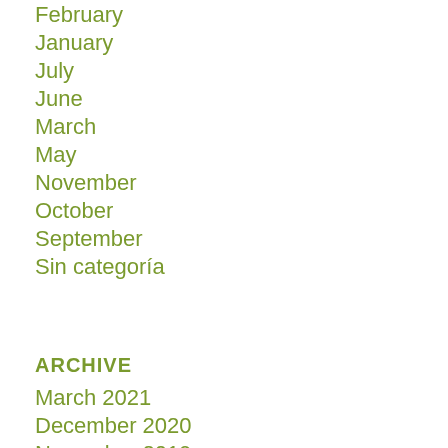February
January
July
June
March
May
November
October
September
Sin categoría
ARCHIVE
March 2021
December 2020
November 2019